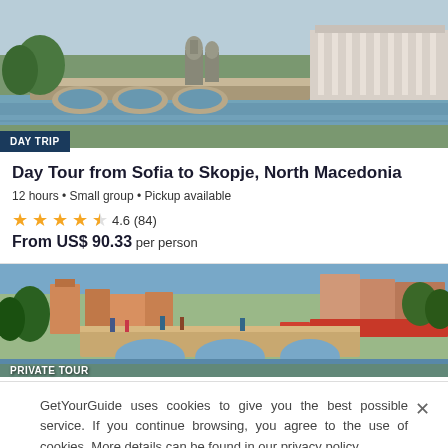[Figure (photo): Scenic view of Skopje with stone bridge, statues, and colonnaded building by a river]
DAY TRIP
Day Tour from Sofia to Skopje, North Macedonia
12 hours • Small group • Pickup available
4.6 (84)
From US$ 90.33 per person
[Figure (photo): Stone arched bridge in old bazaar area with colorful buildings and market stalls]
PRIVATE TOUR
GetYourGuide uses cookies to give you the best possible service. If you continue browsing, you agree to the use of cookies. More details can be found in our privacy policy.